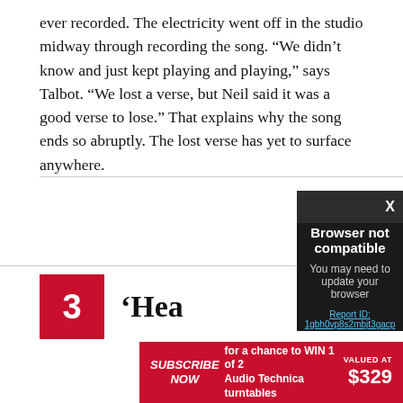ever recorded. The electricity went off in the studio midway through recording the song. “We didn’t know and just kept playing and playing,” says Talbot. “We lost a verse, but Neil said it was a good verse to lose.” That explains why the song ends so abruptly. The lost verse has yet to surface anywhere.
[Figure (screenshot): Browser not compatible modal dialog overlay with dark background, showing title 'Browser not compatible', subtitle 'You may need to update your browser', and a report ID link: 'Report ID: 1gbh0vp8s2mbjt3gacp'. Modal has a close X button in the top right corner.]
3  ‘Hea...
[Figure (infographic): Red subscription banner: SUBSCRIBE NOW for a chance to WIN 1 of 2 Audio Technica turntables VALUED AT $329]